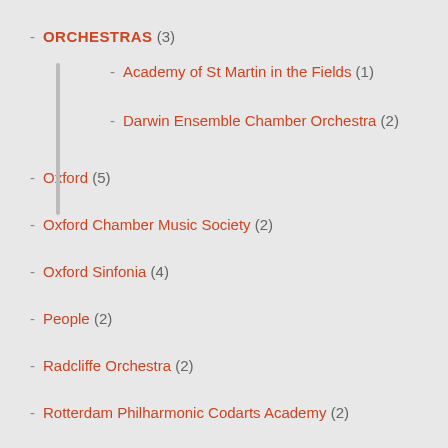ORCHESTRAS (3)
Academy of St Martin in the Fields (1)
Darwin Ensemble Chamber Orchestra (2)
Oxford (5)
Oxford Chamber Music Society (2)
Oxford Sinfonia (4)
People (2)
Radcliffe Orchestra (2)
Rotterdam Philharmonic Codarts Academy (2)
Schubert Ensemble (3)